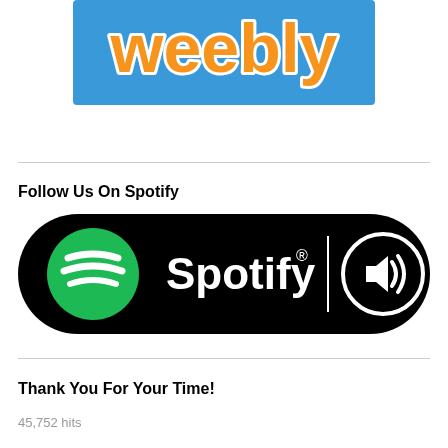[Figure (logo): Weebly logo — orange text 'weebly' with white outline on a blue rectangular background]
Follow Us On Spotify
[Figure (logo): Spotify badge — black pill-shaped button with green Spotify logo circle, white 'Spotify' text with registered trademark symbol, vertical white divider, and white speaker/audio icon on the right]
Thank You For Your Time!
45,752 hits